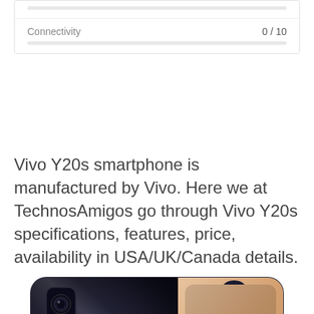[Figure (other): Score card widget showing Connectivity score of 0/10 with an empty progress bar, partially visible at top of page]
Vivo Y20s smartphone is manufactured by Vivo. Here we at TechnosAmigos go through Vivo Y20s specifications, features, price, availability in USA/UK/Canada details.
[Figure (photo): Photo of Vivo Y20s smartphone showing back and front view side by side - black back with triple camera and gradient, rose gold/pink front display side]